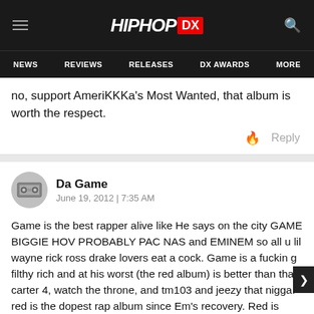HipHopDX — NEWS | REVIEWS | RELEASES | DX AWARDS | MORE
no, support AmeriKKKa's Most Wanted, that album is worth the respect.
Reply
Da Game
June 19, 2012 | 7:35 AM
Game is the best rapper alive like He says on the city GAME BIGGIE HOV PROBABLY PAC NAS and EMINEM so all u lil wayne rick ross drake lovers eat a cock. Game is a fuckin g filthy rich and at his worst (the red album) is better than that carter 4, watch the throne, and tm103 and jeezy that nigga. red is the dopest rap album since Em's recovery. Red is stillclassic shit. all Games cds since 05, even if not better than the Documentary are better than those other shit rappers albums doc advantage end